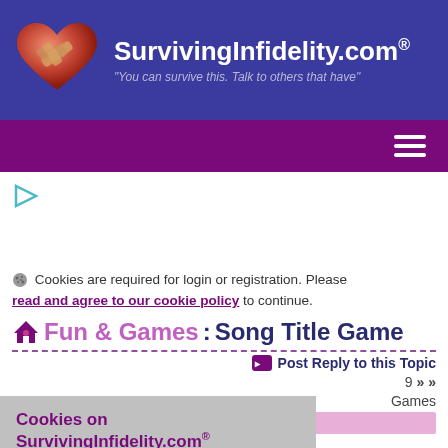SurvivingInfidelity.com® — "You can survive this. Talk to others that have"
Cookies are required for login or registration. Please read and agree to our cookie policy to continue.
Fun & Games : Song Title Game
Post Reply to this Topic
9 >> Games
Cookies on SurvivingInfidelity.com® — SurvivingInfidelity.com® uses cookies to enhance your visit to our website. This is
Policy